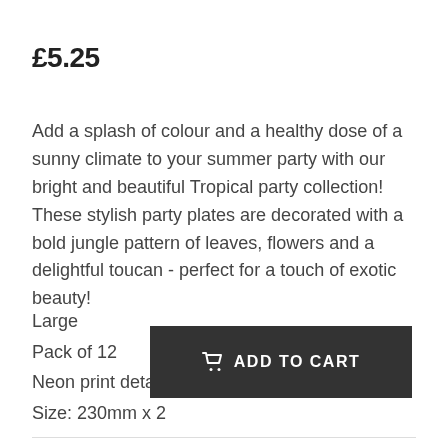£5.25
Add a splash of colour and a healthy dose of a sunny climate to your summer party with our bright and beautiful Tropical party collection! These stylish party plates are decorated with a bold jungle pattern of leaves, flowers and a delightful toucan - perfect for a touch of exotic beauty!
Large
Pack of 12
Neon print detail
Size: 230mm x 2